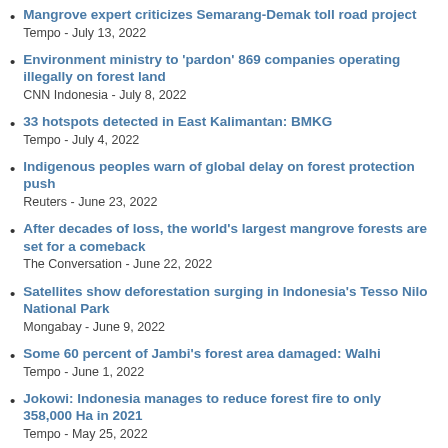Mangrove expert criticizes Semarang-Demak toll road project
Tempo - July 13, 2022
Environment ministry to 'pardon' 869 companies operating illegally on forest land
CNN Indonesia - July 8, 2022
33 hotspots detected in East Kalimantan: BMKG
Tempo - July 4, 2022
Indigenous peoples warn of global delay on forest protection push
Reuters - June 23, 2022
After decades of loss, the world's largest mangrove forests are set for a comeback
The Conversation - June 22, 2022
Satellites show deforestation surging in Indonesia's Tesso Nilo National Park
Mongabay - June 9, 2022
Some 60 percent of Jambi's forest area damaged: Walhi
Tempo - June 1, 2022
Jokowi: Indonesia manages to reduce forest fire to only 358,000 Ha in 2021
Tempo - May 25, 2022